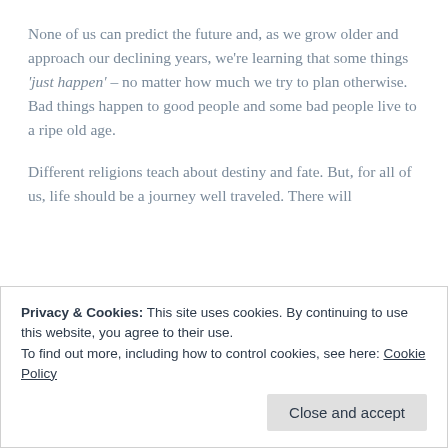None of us can predict the future and, as we grow older and approach our declining years, we're learning that some things 'just happen' – no matter how much we try to plan otherwise. Bad things happen to good people and some bad people live to a ripe old age.
Different religions teach about destiny and fate. But, for all of us, life should be a journey well traveled. There will
Privacy & Cookies: This site uses cookies. By continuing to use this website, you agree to their use.
To find out more, including how to control cookies, see here: Cookie Policy